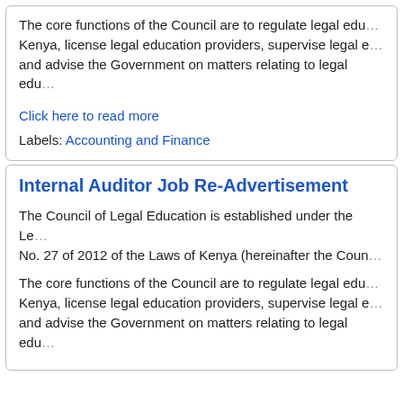The core functions of the Council are to regulate legal education in Kenya, license legal education providers, supervise legal education and advise the Government on matters relating to legal education.
Click here to read more
Labels: Accounting and Finance
Internal Auditor Job Re-Advertisement
The Council of Legal Education is established under the Legal Education Act No. 27 of 2012 of the Laws of Kenya (hereinafter the Council).
The core functions of the Council are to regulate legal education in Kenya, license legal education providers, supervise legal education and advise the Government on matters relating to legal education.